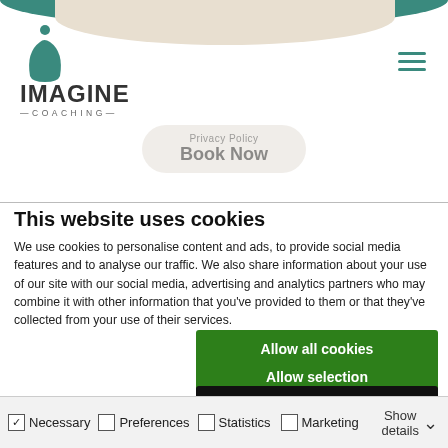[Figure (logo): Imagine Coaching logo with teal 'i' icon and text 'IMAGINE — COACHING —']
Book Now
This website uses cookies
We use cookies to personalise content and ads, to provide social media features and to analyse our traffic. We also share information about your use of our site with our social media, advertising and analytics partners who may combine it with other information that you've provided to them or that they've collected from your use of their services.
Allow all cookies
Allow selection
Use necessary cookies only
Necessary   Preferences   Statistics   Marketing   Show details